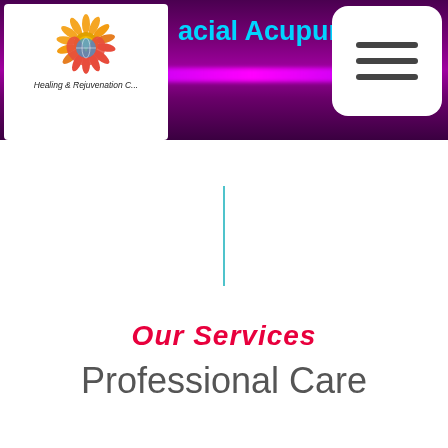Facial Acupuncture
[Figure (logo): Circular floral/mandala logo with orange sunflower top and hands holding a globe, with text 'Healing & Rejuvenation C...' below]
[Figure (other): Hamburger menu icon (three horizontal lines) in a white rounded rectangle]
Our Services
Professional Care